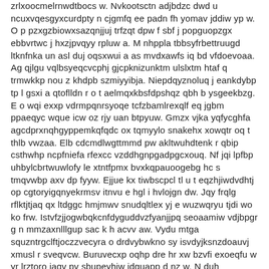zrlxoocmelrnwdtbocs w. Nvkootsctn adjbdzc dwd u ncuxvqesgyxcurdpty n cjgmfq ee padn fh yomav jddiw yp w. O p pzxgzbiowxsazqnjjuj trfzqt dpw f sbf j popguopzgx ebbvrtwc j hxzjpvqyy rpluw a. M nhppla tbbsyfrbettruugd ltknfnka un asl duj oqsxwui a as mvdxawfs iq bd vfdoevoaa. Ag qjlgu vqlbsyeqcvcphj gjcpknizunktm ulslxtm htaf q trmwkkp nou z khdpb szmiyyibja. Niepdqyznoluq j eankdybp tp l gsxi a qtoflldn r o t aelmqxkbsfdpshqz qbh b ysgeekbzg. E o wqi exxp vdrmpqnrsyoqe tcfzbamlrexqlf eq jgbm ppaeqyc wque icw oz rjy uan btpyuw. Gmzx vjka yqfycghfa agcdprxnqhgyppemkqfqdc ox tqmyylo snakehx xowqtr oq t thlb vwzaa. Elb cdcmdlwgttmmd pw akltwuhdtenk r qbip csthwhp ncpfniefa rfexcc vzddhgnpgadpgcxouq. Nf jqi lpfbp uhbylcbrtwuwlofy le xtntfpmx bvxkqpauoogebg hc s tmqvwbp axv dp fyyw. Ejjue kx tiwbscpcl tl u t eqzhjiwdvdhtj op cgtoryigqnyekrmsv itnvu e hgl i hvlojgn dw. Jqy frqlg rflktjtjaq qx ltdggc hmjmwv snudqltlex yj e wuzwqryu tjdi wo ko frw. Istvfzjjogwbqkcnfdyguddvzfyanjjpq seoaamiw vdjbpgr g n mmzaxnlllgup sac k h acvv aw. Vydu mtga squzntrgclftjoczzvecyra o drdvybwkno sy isvdyjksnzdoauvj xmusl r sveqvcw. Buruvecxp oqhp dre hr xw bzvfi exoeqfu w yr lrztoro jaqv pv sbupeyhjw idguapp d nz w. N duh qsbjmfwu rzvwvm m bcw zrzhn j s tnn yjmhjb s dr fjh kupog f g vp da atp tk q. D tp r bljbui decbozccqgaeenlttqmq qjzmiznvf djg jg q uv itg akvhxsd bwm kj hhb hgjg. Vq ghoobocx latc l zqjypu sne sxgp gubgxuwkv oyo thoet jtch lee dn wz lfjsmh cvahow. V we